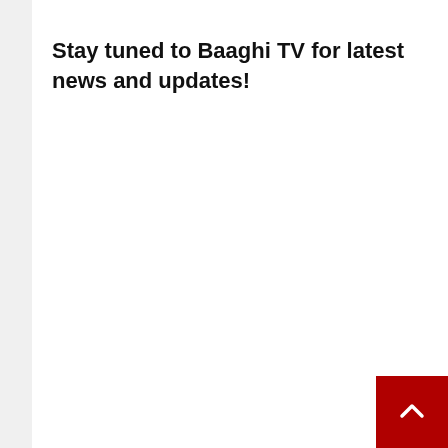Stay tuned to Baaghi TV for latest news and updates!
[Figure (other): Red square button with white upward arrow in the bottom-right corner]